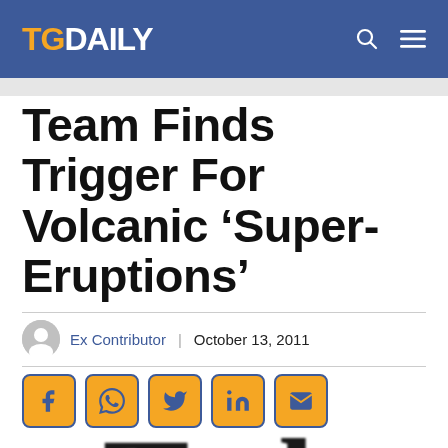TG DAILY
Team Finds Trigger For Volcanic ‘Super-Eruptions’
Ex Contributor | October 13, 2011
[Figure (infographic): Social sharing buttons: Facebook, WhatsApp, Twitter, LinkedIn, Email]
[Figure (photo): Large blurred serif text reading 'Tech' at the bottom of the page]